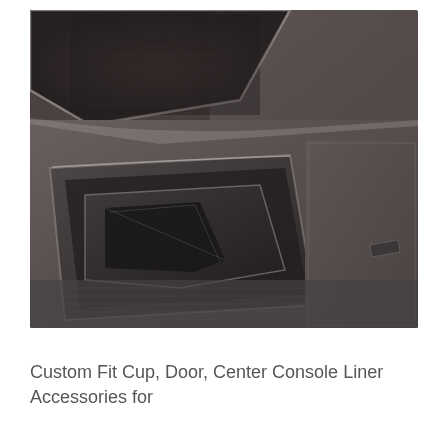[Figure (photo): Close-up photograph of a car interior door panel showing a dark gray/charcoal textured door pocket with a rubber or plastic liner insert. The door panel has a speaker grille at the top with a mesh fabric, a storage pocket/bin in the center with a custom-fit liner that has an angular geometric shape fitting snugly inside, and a flat panel area to the right. The textures are matte dark gray plastic with subtle grain patterns.]
Custom Fit Cup, Door, Center Console Liner Accessories for